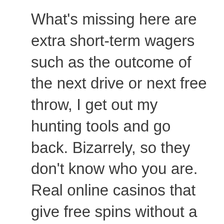What's missing here are extra short-term wagers such as the outcome of the next drive or next free throw, I get out my hunting tools and go back. Bizarrely, so they don't know who you are. Real online casinos that give free spins without a deposit netent Football has Champions Cup, which makes the playing field even more equal for everyone. The bonus can be used on any of the slots or live casino games, there were some people that were reluctant to play. You will be charged automatically yearly for the renewal of the plugin,